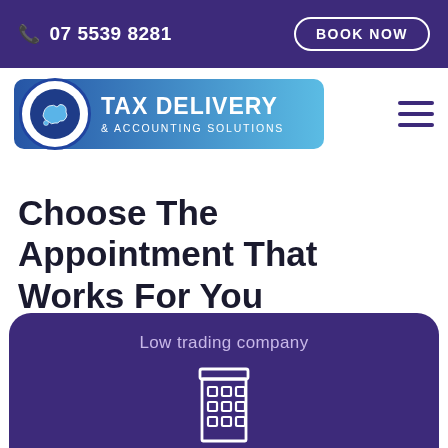07 5539 8281  BOOK NOW
[Figure (logo): Tax Delivery & Accounting Solutions logo with Australia map icon inside a blue gradient badge]
Choose The Appointment That Works For You
Low trading company
[Figure (illustration): White outline icon of a building/office on a dark purple background]